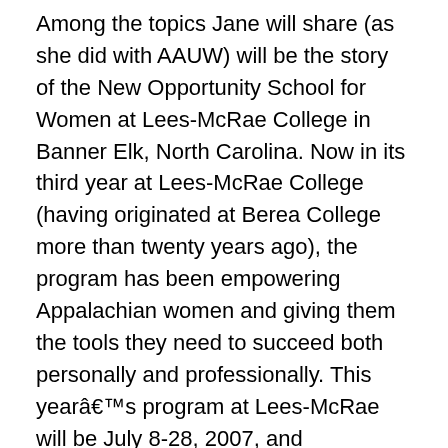Among the topics Jane will share (as she did with AAUW) will be the story of the New Opportunity School for Women at Lees-McRae College in Banner Elk, North Carolina. Now in its third year at Lees-McRae College (having originated at Berea College more than twenty years ago), the program has been empowering Appalachian women and giving them the tools they need to succeed both personally and professionally. This yearâs program at Lees-McRae will be July 8-28, 2007, and applications are still being accepted. For more information, please contact the New Opportunity School for Women at Lees-McRae College, (828)898-8905, nosw@lmc.edu
Airings:
Â· Friday, June 15th at 9:00pm
Â· Sunday, June 17thth at 5:30pm